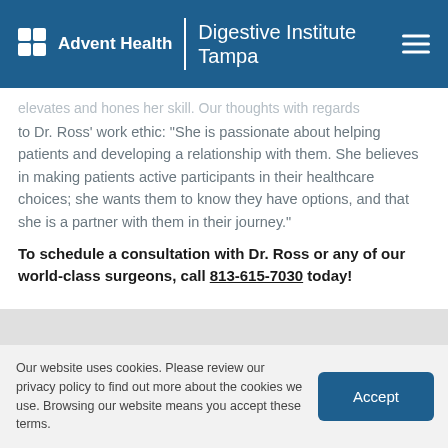AdventHealth | Digestive Institute Tampa
elevates and hones her skill. Our thoughts with regards to Dr. Ross' work ethic: "She is passionate about helping patients and developing a relationship with them. She believes in making patients active participants in their healthcare choices; she wants them to know they have options, and that she is a partner with them in their journey."
To schedule a consultation with Dr. Ross or any of our world-class surgeons, call 813-615-7030 today!
Our website uses cookies. Please review our privacy policy to find out more about the cookies we use. Browsing our website means you accept these terms.